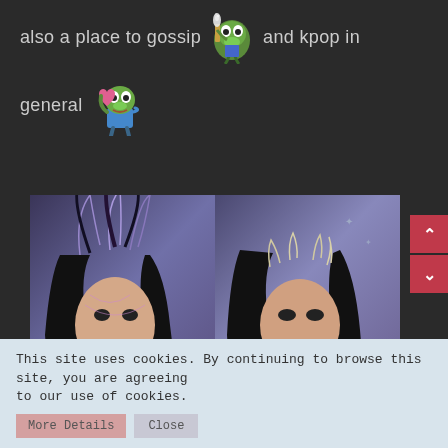also a place to gossip [pepe champagne emoji] and kpop in
general [pepe hug emoji]
[Figure (photo): Two K-pop performers side by side with elaborate fantasy headpieces and jewelry, dark hair, dramatic makeup with red lips, against a purple-blue gradient background]
This site uses cookies. By continuing to browse this site, you are agreeing to our use of cookies.
More Details   Close